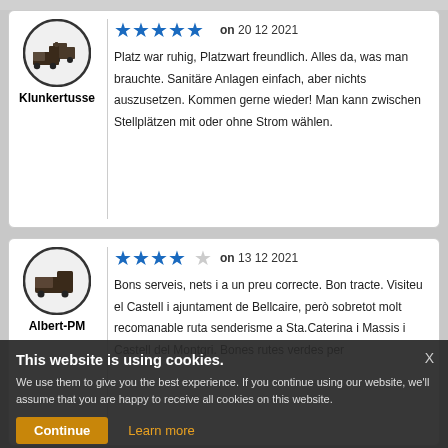[Figure (illustration): Camper van icon in circle, username Klunkertusse, 5-star rating, date 20 12 2021]
Platz war ruhig, Platzwart freundlich. Alles da, was man brauchte. Sanitäre Anlagen einfach, aber nichts auszusetzen. Kommen gerne wieder! Man kann zwischen Stellplätzen mit oder ohne Strom wählen.
[Figure (illustration): Camper van icon in circle, username Albert-PM, 4-star rating, date 13 12 2021]
Bons serveis, nets i a un preu correcte. Bon tracte. Visiteu el Castell i ajuntament de Bellcaire, però sobretot molt recomanable ruta senderisme a Sta.Caterina i Massis i Castell del Montgri. Bones rutes verdes per
[Figure (illustration): Partially visible third review with camper van icon and 2-star rating]
This website is using cookies. We use them to give you the best experience. If you continue using our website, we'll assume that you are happy to receive all cookies on this website.